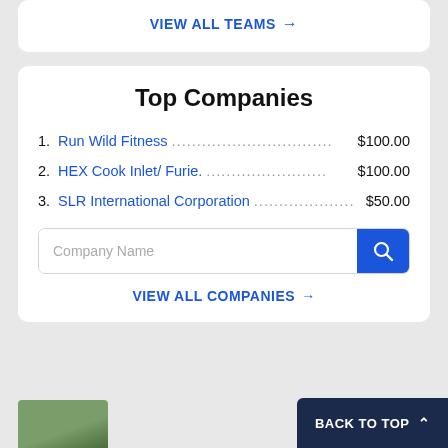VIEW ALL TEAMS →
Top Companies
1. Run Wild Fitness ......................... $100.00
2. HEX Cook Inlet/ Furie. ................... $100.00
3. SLR International Corporation ........... $50.00
[Figure (screenshot): Search input box with placeholder 'Company Name' and a blue search button with magnifying glass icon]
VIEW ALL COMPANIES →
BACK TO TOP ^